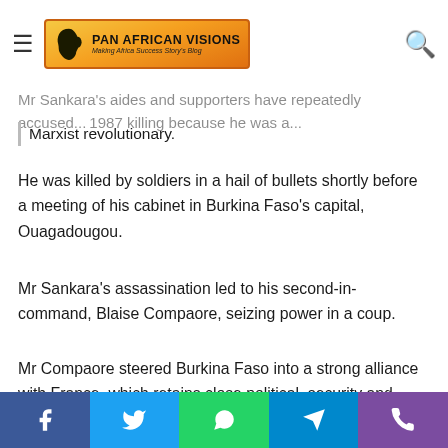Pan African Visions — Making Africa Success Story's Blog
Mr Sankara's aides and supporters have repeatedly accused ... 1987 killing because he was a ... Marxist revolutionary.
He was killed by soldiers in a hail of bullets shortly before a meeting of his cabinet in Burkina Faso's capital, Ouagadougou.
Mr Sankara's assassination led to his second-in-command, Blaise Compaore, seizing power in a coup.
Mr Compaore steered Burkina Faso into a strong alliance with France, which retains close political, security and economic ties with many of its former colonies in Africa.
Burkina Faso opened an investigation into the killing after he
Facebook | Twitter | WhatsApp | Telegram | Phone